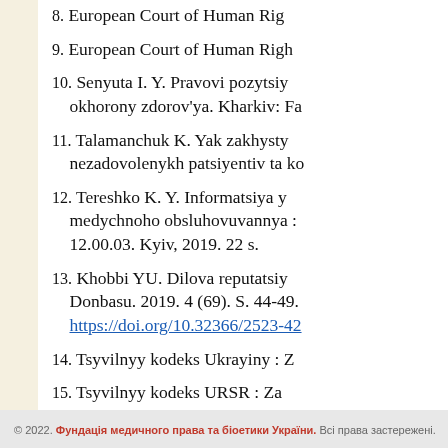8. European Court of Human Rig…
9. European Court of Human Righ…
10. Senyuta I. Y. Pravovi pozytsiy… okhorony zdorov'ya. Kharkiv: Fa…
11. Talamanchuk K. Yak zakhysty… nezadovolenykh patsiyentiv ta ko…
12. Tereshko K. Y. Informatsiya y… medychnoho obsluhovuvannya : … 12.00.03. Kyiv, 2019. 22 s.
13. Khobbi YU. Dilova reputatsiy… Donbasu. 2019. 4 (69). S. 44-49. https://doi.org/10.32366/2523-42…
14. Tsyvilnyy kodeks Ukrayiny : Z…
15. Tsyvilnyy kodeks URSR : Za…
© 2022. Фундація медичного права та біоетики України. Всі права застережені.